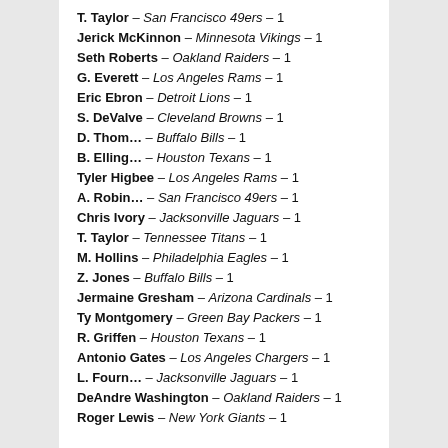T. Taylor – San Francisco 49ers – 1
Jerick McKinnon – Minnesota Vikings – 1
Seth Roberts – Oakland Raiders – 1
G. Everett – Los Angeles Rams – 1
Eric Ebron – Detroit Lions – 1
S. DeValve – Cleveland Browns – 1
D. Thom… – Buffalo Bills – 1
B. Elling… – Houston Texans – 1
Tyler Higbee – Los Angeles Rams – 1
A. Robin… – San Francisco 49ers – 1
Chris Ivory – Jacksonville Jaguars – 1
T. Taylor – Tennessee Titans – 1
M. Hollins – Philadelphia Eagles – 1
Z. Jones – Buffalo Bills – 1
Jermaine Gresham – Arizona Cardinals – 1
Ty Montgomery – Green Bay Packers – 1
R. Griffen – Houston Texans – 1
Antonio Gates – Los Angeles Chargers – 1
L. Fourn… – Jacksonville Jaguars – 1
DeAndre Washington – Oakland Raiders – 1
Roger Lewis – New York Giants – 1